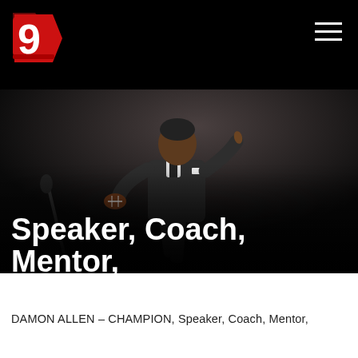[Figure (logo): D9 logo with red shield/diamond shape and white numeral 9, on black background]
[Figure (photo): Damon Allen, a man in a dark suit holding a football in one hand and pointing upward with the other hand, walking on a dark stage with a spotlight, speaking or presenting.]
Speaker, Coach, Mentor, Philanthropist
DAMON ALLEN – CHAMPION, Speaker, Coach, Mentor,